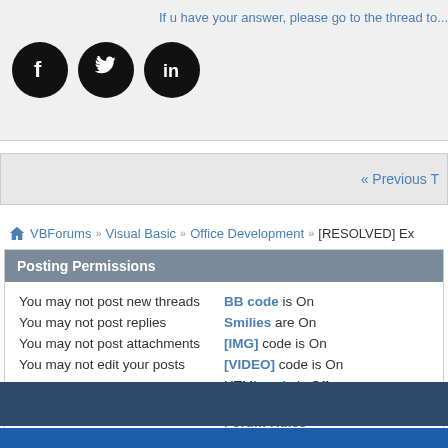[Figure (other): Social media icons: Facebook, Twitter, LinkedIn in black circles]
« Previous T
VBForums » Visual Basic » Office Development » [RESOLVED] Ex
Posting Permissions
You may not post new threads
You may not post replies
You may not post attachments
You may not edit your posts
BB code is On
Smilies are On
[IMG] code is On
[VIDEO] code is On
HTML code is Off
Forum Rules